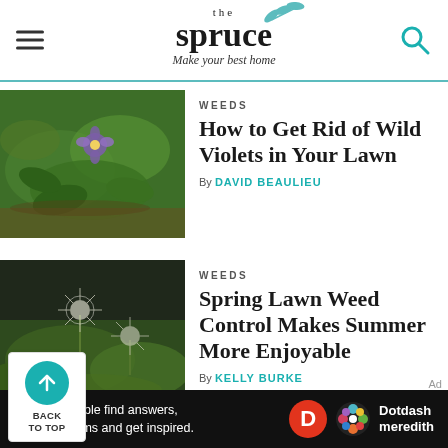the spruce — Make your best home
[Figure (photo): Close-up of wild violet flower with purple bloom among green leaves and grass]
WEEDS
How to Get Rid of Wild Violets in Your Lawn
By DAVID BEAULIEU
[Figure (photo): Dandelion seed heads (white puffballs) among green lawn weeds and grass]
WEEDS
Spring Lawn Weed Control Makes Summer More Enjoyable
By KELLY BURKE
[Figure (other): Back to top button with teal circle and upward arrow]
We help people find answers, solve problems and get inspired. Dotdash meredith